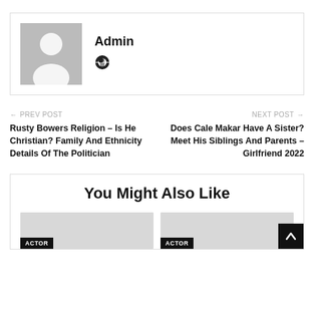[Figure (illustration): Author avatar placeholder - grey silhouette person icon]
Admin
← PREV POST
Rusty Bowers Religion – Is He Christian? Family And Ethnicity Details Of The Politician
NEXT POST →
Does Cale Makar Have A Sister? Meet His Siblings And Parents – Girlfriend 2022
You Might Also Like
ACTOR
ACTOR